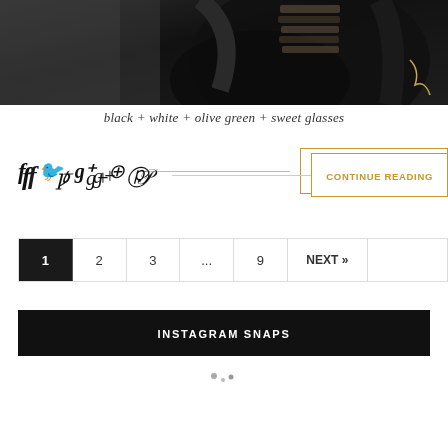[Figure (photo): Bottom portion of a fashion photo showing a person wearing a black leather outfit with decorative elements, photographed from behind/side, dark moody tones]
black + white + olive green + sweet glasses
Social icons: facebook, twitter, google+, pinterest — Continue Reading button
Pagination: 1 (active), 2, 3, ..., 9, NEXT »
INSTAGRAM SNAPS
[Figure (other): Loading spinner dots]